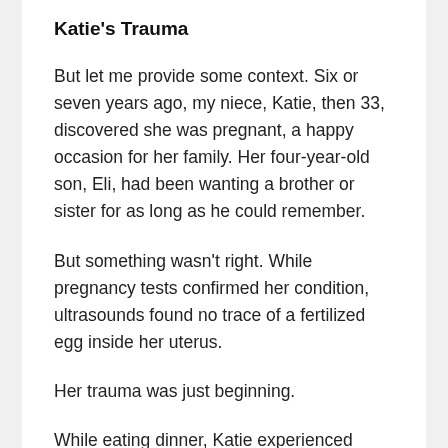Katie's Trauma
But let me provide some context. Six or seven years ago, my niece, Katie, then 33, discovered she was pregnant, a happy occasion for her family. Her four-year-old son, Eli, had been wanting a brother or sister for as long as he could remember.
But something wasn't right. While pregnancy tests confirmed her condition, ultrasounds found no trace of a fertilized egg inside her uterus.
Her trauma was just beginning.
While eating dinner, Katie experienced abdominal pains so sharp she ran to the bathroom, vomited